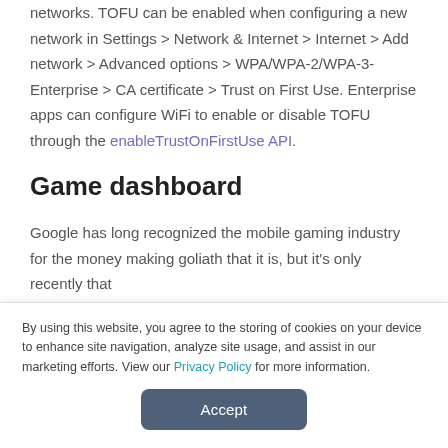networks. TOFU can be enabled when configuring a new network in Settings > Network & Internet > Internet > Add network > Advanced options > WPA/WPA-2/WPA-3-Enterprise > CA certificate > Trust on First Use. Enterprise apps can configure WiFi to enable or disable TOFU through the enableTrustOnFirstUse API.
Game dashboard
Google has long recognized the mobile gaming industry for the money making goliath that it is, but it's only recently that
By using this website, you agree to the storing of cookies on your device to enhance site navigation, analyze site usage, and assist in our marketing efforts. View our Privacy Policy for more information.